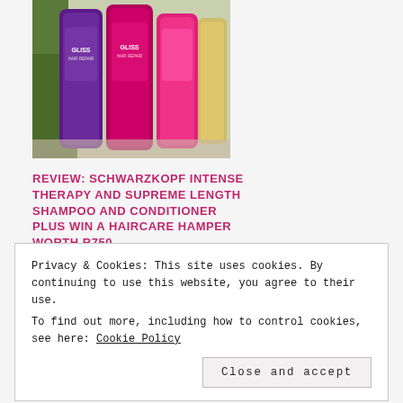[Figure (photo): Photo of Schwarzkopf Gliss hair care products - purple and pink bottles of shampoo and conditioner]
REVIEW: SCHWARZKOPF INTENSE THERAPY AND SUPREME LENGTH SHAMPOO AND CONDITIONER PLUS WIN A HAIRCARE HAMPER WORTH R750
June 10, 2019
With 36 comments
Privacy & Cookies: This site uses cookies. By continuing to use this website, you agree to their use.
To find out more, including how to control cookies, see here: Cookie Policy
Close and accept